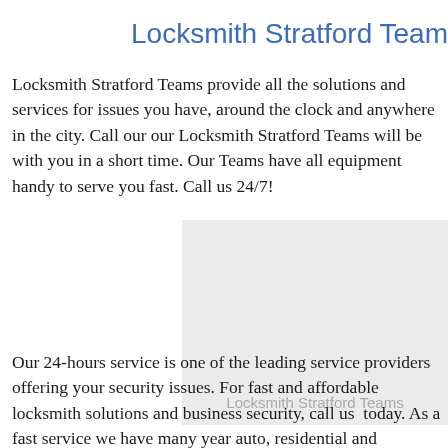Locksmith Stratford Team
Locksmith Stratford Teams provide all the solutions and services for issues you have, around the clock and anywhere in the city. Call our our Locksmith Stratford Teams will be with you in a short time. Our Teams have all equipment handy to serve you fast. Call us 24/7!
[Figure (photo): Placeholder image box with text 'Locksmith Stratford Teams' at bottom center]
Locksmith Stratford Teams
Our 24-hours service is one of the leading service providers offering your security issues. For fast and affordable locksmith solutions and business security, call us today. As a fast service we have many year auto, residential and commercial locksmith services; and our team c...